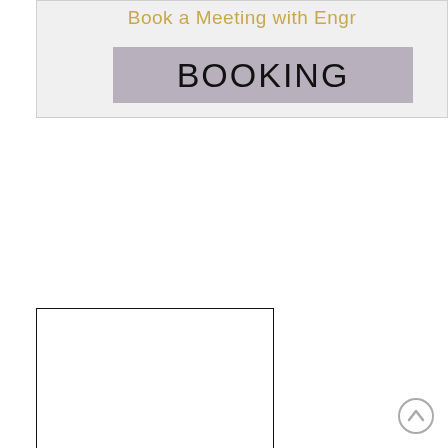Book a Meeting with Engr
BOOKING
[Figure (other): Left empty white panel with black border]
[Figure (other): Right empty white panel with black border, scroll-up icon in bottom right corner]